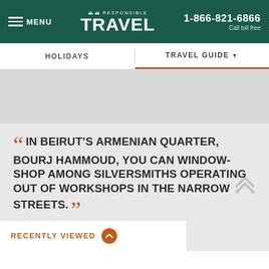MENU | Responsible Travel | 1-866-821-6866 | Call toll free
HOLIDAYS | TRAVEL GUIDE
[Figure (photo): Gray banner image area below navigation]
“IN BEIRUT’S ARMENIAN QUARTER, BOURJ HAMMOUD, YOU CAN WINDOW-SHOP AMONG SILVERSMITHS OPERATING OUT OF WORKSHOPS IN THE NARROW STREETS.”
RECENTLY VIEWED